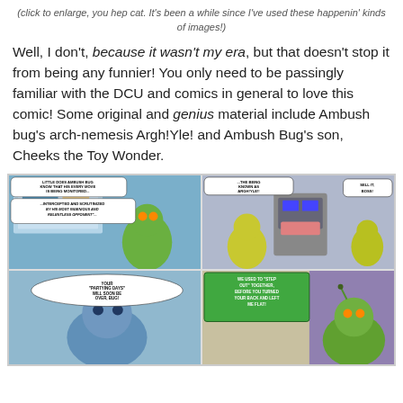(click to enlarge, you hep cat. It's been a while since I've used these happenin' kinds of images!)
Well, I don't, because it wasn't my era, but that doesn't stop it from being any funnier! You only need to be passingly familiar with the DCU and comics in general to love this comic! Some original and genius material include Ambush bug's arch-nemesis Argh!Yle! and Ambush Bug's son, Cheeks the Toy Wonder.
[Figure (illustration): Four-panel comic strip featuring Ambush Bug characters. Top-left: Ambush Bug with speech bubbles 'LITTLE DOES AMBUSH BUG KNOW THAT HIS EVERY MOVE IS BEING MONITORED...' and '...INTERCEPTED AND SCRUTINIZED BY HIS MOST INGENIOUS AND RELENTLESS OPPONENT...'. Top-right: Robot character Argh!Yle with smaller character saying 'SELL IT, BOSS!' and bubble '...THE BEING KNOWN AS ARGH!YLE!!'. Bottom-left: Blue character saying 'YOUR PARTYING DAYS WILL SOON BE OVER, BUG!'. Bottom-right: Green character with speech bubble 'WE USED TO STEP OUT TOGETHER, BEFORE YOU TURNED YOUR BACK AND LEFT ME FLAT!']